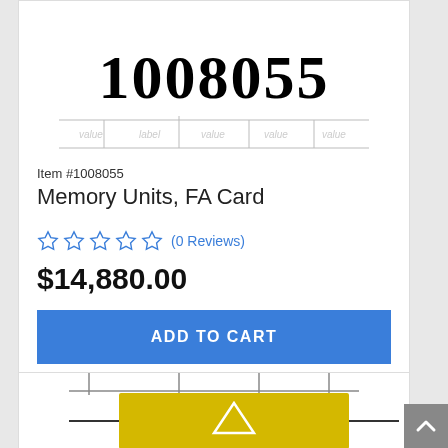[Figure (photo): Product image showing large bold number 1008055 with grid lines below it]
Item #1008055
Memory Units, FA Card
[Figure (other): Five empty star rating icons followed by (0 Reviews) link]
$14,880.00
ADD TO CART
Wish List
[Figure (photo): Partial product image showing yellow capacitor component with grid lines above]